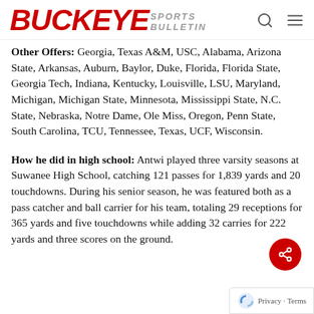Buckeye Sports Bulletin
Other Offers: Georgia, Texas A&M, USC, Alabama, Arizona State, Arkansas, Auburn, Baylor, Duke, Florida, Florida State, Georgia Tech, Indiana, Kentucky, Louisville, LSU, Maryland, Michigan, Michigan State, Minnesota, Mississippi State, N.C. State, Nebraska, Notre Dame, Ole Miss, Oregon, Penn State, South Carolina, TCU, Tennessee, Texas, UCF, Wisconsin.
How he did in high school: Antwi played three varsity seasons at Suwanee High School, catching 121 passes for 1,839 yards and 20 touchdowns. During his senior season, he was featured both as a pass catcher and ball carrier for his team, totaling 29 receptions for 365 yards and five touchdowns while adding 32 carries for 222 yards and three scores on the ground.